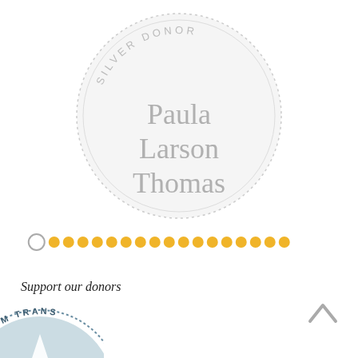[Figure (illustration): Silver Donor badge/medallion with dashed circular border and text 'SILVER DONOR' arched along the top, and the name 'Paula Larson Thomas' in large gray serif font in the center]
[Figure (other): Navigation dots row: one empty circle followed by 17 filled yellow/gold circles]
Support our donors
[Figure (other): Upward chevron/caret icon in gray]
[Figure (illustration): Partially visible Platinum Transparency badge/seal at bottom left corner]